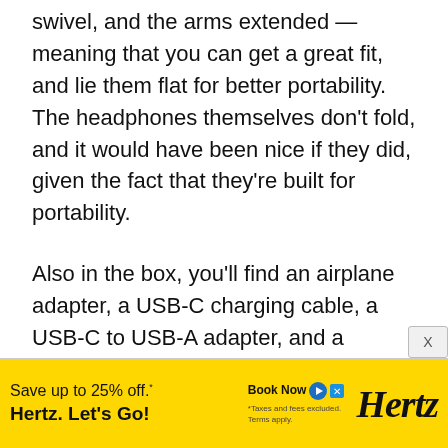swivel, and the arms extended — meaning that you can get a great fit, and lie them flat for better portability. The headphones themselves don't fold, and it would have been nice if they did, given the fact that they're built for portability.
Also in the box, you'll find an airplane adapter, a USB-C charging cable, a USB-C to USB-A adapter, and a 3.5mm to 6.35mm adapter. That's not to mention the beautifully built and strong hard case, which is perfect for travel.
[Figure (other): Hertz advertisement banner: yellow background with 'Save up to 25% off.' text, 'Hertz. Let's Go!' bold text, 'Book Now' button with play icon and X close icon, small disclaimer text, and Hertz italic logo on the right.]